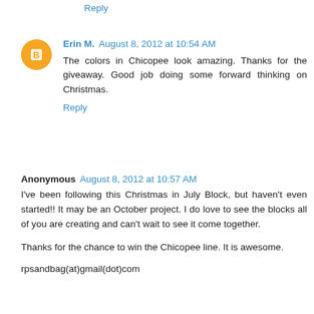Reply
Erin M. August 8, 2012 at 10:54 AM
The colors in Chicopee look amazing. Thanks for the giveaway. Good job doing some forward thinking on Christmas.
Reply
Anonymous August 8, 2012 at 10:57 AM
I've been following this Christmas in July Block, but haven't even started!! It may be an October project. I do love to see the blocks all of you are creating and can't wait to see it come together.
Thanks for the chance to win the Chicopee line. It is awesome.
rpsandbag(at)gmail(dot)com